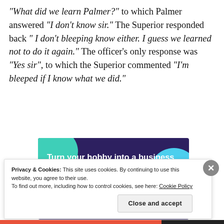“What did we learn Palmer?” to which Palmer answered “I don’t know sir.” The Superior responded back “ I don’t bleeping know either. I guess we learned not to do it again.” The officer’s only response was “Yes sir”, to which the Superior commented “I’m bleeped if I know what we did.”
[Figure (infographic): Advertisement banner with dark navy background, teal and light blue decorative blobs, bold white text reading 'Turn your hobby into a business in 8 steps', and a white 'Start a new store' button.]
Privacy & Cookies: This site uses cookies. By continuing to use this website, you agree to their use.
To find out more, including how to control cookies, see here: Cookie Policy
Close and accept